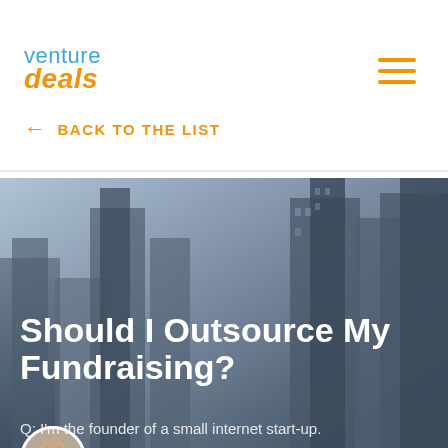[Figure (logo): Venture Deals logo with 'venture' in blue and 'deals' in orange italic]
← BACK TO THE LIST
[Figure (photo): Hero banner with dark blue-gray city buildings in the background, author photo of Brad Feld (bald man with glasses) in circular frame]
by Brad Feld   December 17, 2007
Should I Outsource My Fundraising?
Q: I'm the founder of a small internet start-up.